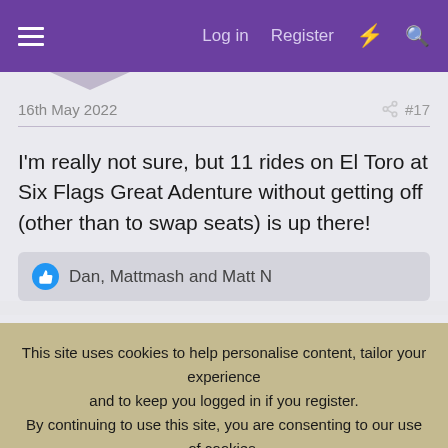Log in  Register
16th May 2022  #17
I'm really not sure, but 11 rides on El Toro at Six Flags Great Adenture without getting off (other than to swap seats) is up there!
Dan, Mattmash and Matt N
This site uses cookies to help personalise content, tailor your experience and to keep you logged in if you register. By continuing to use this site, you are consenting to our use of cookies.